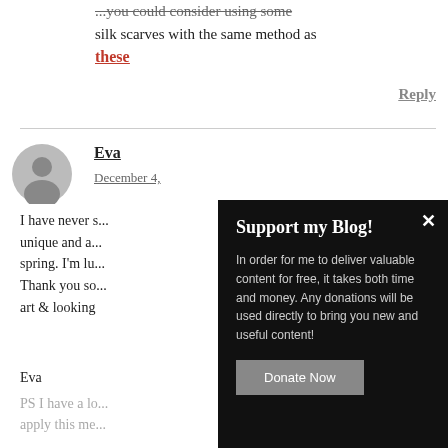...you could consider using some silk scarves with the same method as these
Reply
Eva
December 4,
I have never s... unique and a... spring. I'm lu... Thank you so... art & looking
Eva
PS I have a lo... apply this me...
[Figure (screenshot): Modal popup with dark background. Title: 'Support my Blog!'. Body text: 'In order for me to deliver valuable content for free, it takes both time and money. Any donations will be used directly to bring you new and useful content!' with a 'Donate Now' button and a close (x) button.]